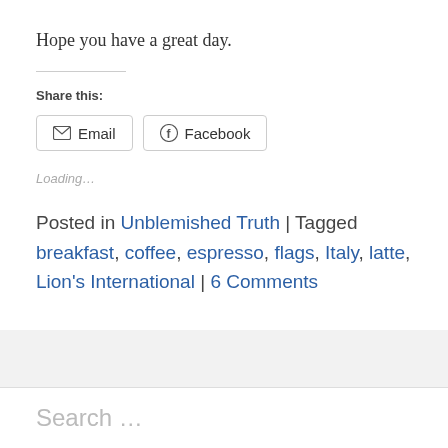Hope you have a great day.
Share this:
[Figure (other): Email and Facebook share buttons]
Loading...
Posted in Unblemished Truth | Tagged breakfast, coffee, espresso, flags, Italy, latte, Lion's International | 6 Comments
Search ...